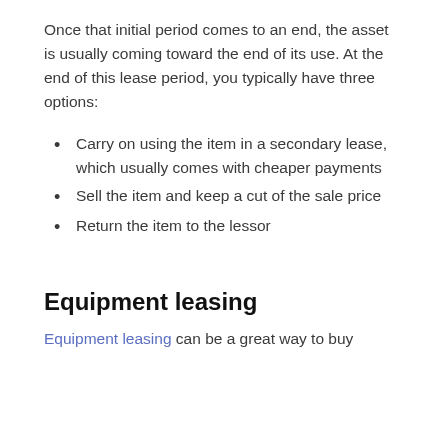Once that initial period comes to an end, the asset is usually coming toward the end of its use. At the end of this lease period, you typically have three options:
Carry on using the item in a secondary lease, which usually comes with cheaper payments
Sell the item and keep a cut of the sale price
Return the item to the lessor
Equipment leasing
Equipment leasing can be a great way to buy